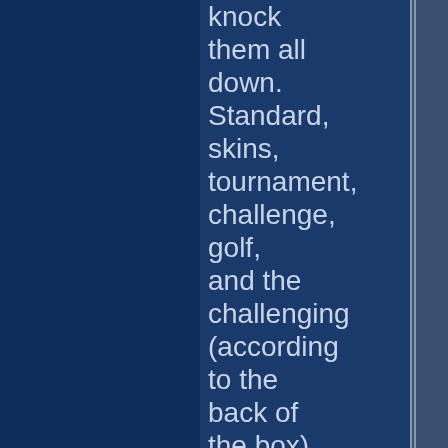knock them all down. Standard, skins, tournament, challenge, golf, and the challenging (according to the back of the box) practice mode. Seriously, I rolled ball after ball and couldn't beat it. The different modes